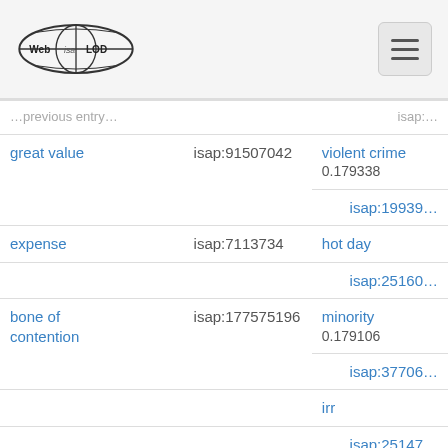Web isa LOD [logo] [hamburger menu]
| Term | ID | Related Term | Related ID |
| --- | --- | --- | --- |
| great value | isap:91507042 | violent crime | isap:19939... |
|  |  | hot day | isap:25160... |
| expense | isap:7113734 |  |  |
| bone of contention | isap:177575196 | minority | isap:37706... |
|  |  | irr | isap:25147... |
| significant contributor | isap:419311726 | mental disorder | isap:38428... |
| unit | isap:179570248 | volume | isap:49720... |
| infant | isap:303527259 | public | isap:49828... |
| compensation | isap:313620365 | gdp | isap:24730... |
| stock | isap:85768288 | ytm | isap:24718... |
| penny | isap:88337994 | tb | isap:33442... |
|  |  | planet | isap:50083... |